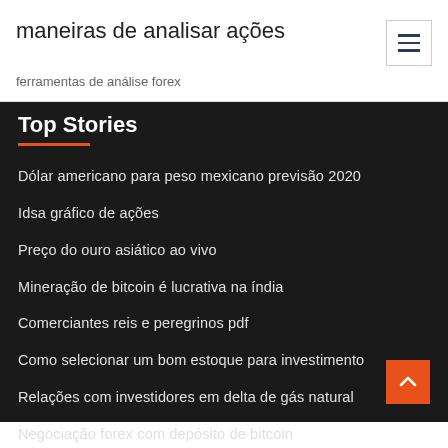maneiras de analisar ações
ferramentas de análise forex
Top Stories
Dólar americano para peso mexicano previsão 2020
Idsa gráfico de ações
Preço do ouro asiático ao vivo
Mineração de bitcoin é lucrativa na índia
Comerciantes reis e peregrinos pdf
Como selecionar um bom estoque para investimento
Relações com investidores em delta de gás natural
Negociação forex com depósito de bitcoin
E mini s & p negociação de 500 dias